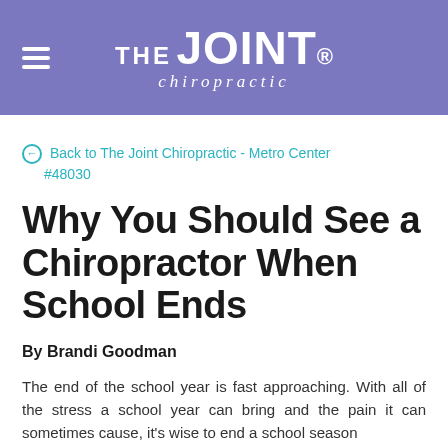THE JOINT chiropractic
Back to The Joint Chiropractic - Metro Center #48030
Why You Should See a Chiropractor When School Ends
By Brandi Goodman
The end of the school year is fast approaching. With all of the stress a school year can bring and the pain it can sometimes cause, it's wise to end a school season